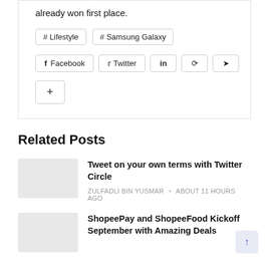already won first place.
#Lifestyle
#Samsung Galaxy
Facebook  Twitter  in  Pinterest  Send  +
Related Posts
Tweet on your own terms with Twitter Circle
ZULFADLI BIN YUSMAR • about 11 hours ago
ShopeePay and ShopeeFood Kickoff September with Amazing Deals